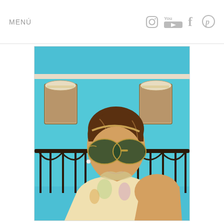MENÚ
[Figure (photo): A young woman with dark hair pulled back wearing aviator sunglasses and a colorful patterned sleeveless top, photographed in front of a bright turquoise colonial building with ornate windows and a black iron railing.]